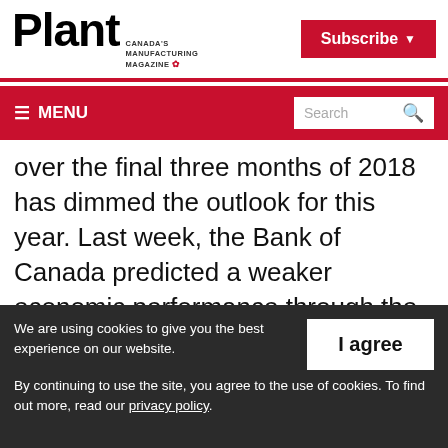Plant Canada's Manufacturing Magazine | Subscribe
≡ MENU | Search
over the final three months of 2018 has dimmed the outlook for this year. Last week, the Bank of Canada predicted a weaker economic performance through the first half of 2019, compared to its previous forecast of just a short slump.
We are using cookies to give you the best experience on our website. By continuing to use the site, you agree to the use of cookies. To find out more, read our privacy policy.